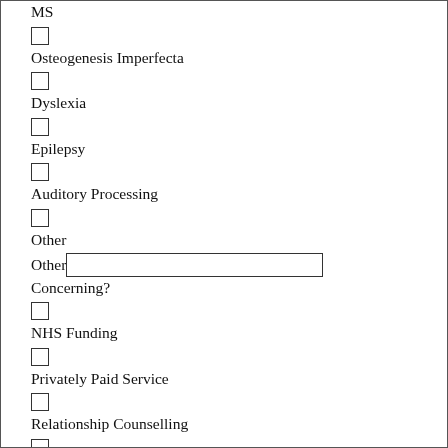MS
Osteogenesis Imperfecta
Dyslexia
Epilepsy
Auditory Processing
Other
Other [text field] Concerning?
NHS Funding
Privately Paid Service
Relationship Counselling
Professional Organisation Referral
General Question